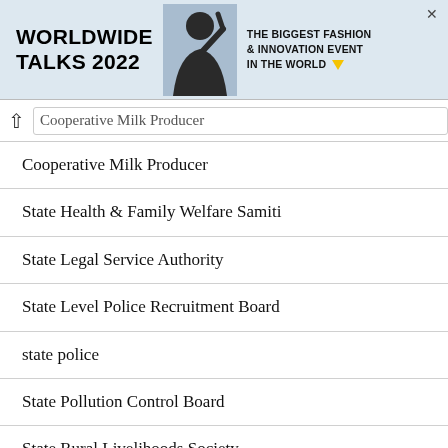[Figure (other): Advertisement banner for Worldwide Talks 2022 - The Biggest Fashion & Innovation Event in the World]
Cooperative Milk Producer
State Health & Family Welfare Samiti
State Legal Service Authority
State Level Police Recruitment Board
state police
State Pollution Control Board
State Rural Livelihoods Society
State Transport Corporation
Steno-Typist
stenographer
Sub-Inspector
Subordinate Staff Selection Commission